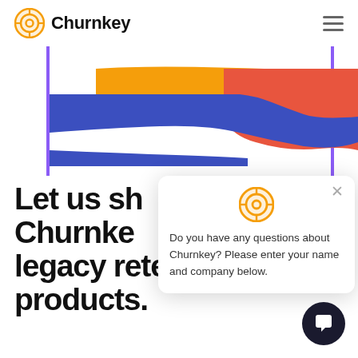Churnkey
[Figure (illustration): Abstract colorful banner with blue, orange/yellow, and red-orange shapes, with purple vertical lines on left and right sides]
Let us sh... Churnke... legacy retention products.
[Figure (screenshot): Chat popup widget with Churnkey logo icon and text: Do you have any questions about Churnkey? Please enter your name and company below. Close X button top right. Dark circular chat bubble button bottom right.]